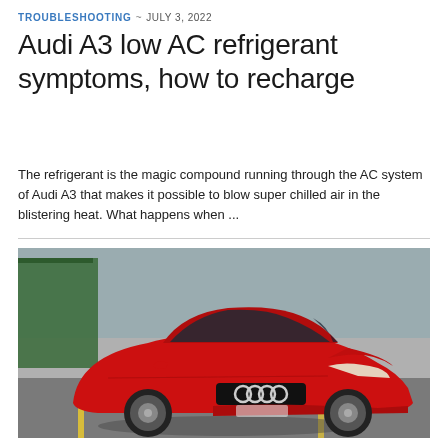TROUBLESHOOTING ~ JULY 3, 2022
Audi A3 low AC refrigerant symptoms, how to recharge
The refrigerant is the magic compound running through the AC system of Audi A3 that makes it possible to blow super chilled air in the blistering heat. What happens when ...
[Figure (photo): Red Audi A3 sedan photographed from a front three-quarter angle, parked on a road with a green building in the background.]